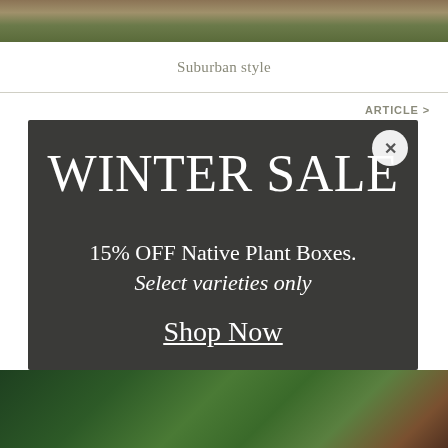[Figure (photo): Partial view of a garden or outdoor scene at the top of the page]
Suburban style
ARTICLE >
[Figure (infographic): Dark modal overlay popup with Winter Sale promotion. Contains close button (X), title WINTER SALE, body text 15% OFF Native Plant Boxes. Select varieties only, and a Shop Now link.]
[Figure (photo): Close-up photo of green plant leaves and buds at the bottom of the page]